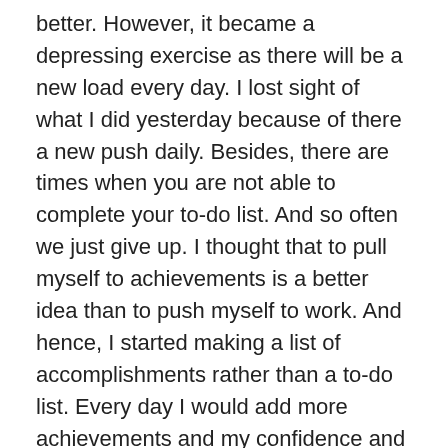better. However, it became a depressing exercise as there will be a new load every day. I lost sight of what I did yesterday because of there a new push daily. Besides, there are times when you are not able to complete your to-do list. And so often we just give up. I thought that to pull myself to achievements is a better idea than to push myself to work. And hence, I started making a list of accomplishments rather than a to-do list. Every day I would add more achievements and my confidence and energy grew with the list. To do is a fast track pushy habit, that might ultimately push you out of sanity. Better go slow and list down what flew in naturally. I can bet that it will have you happier and help you achieve more effortlessly!
Let's have less work and more leisure! Best wishes
I...